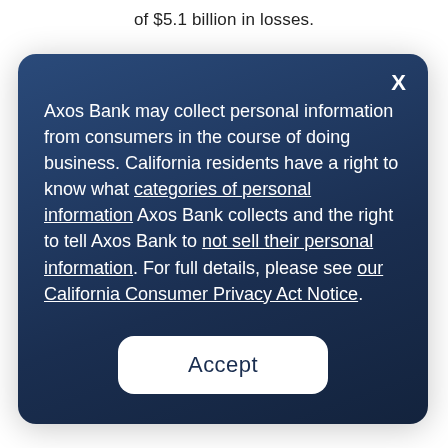of $5.1 billion in losses.
Axos Bank may collect personal information from consumers in the course of doing business. California residents have a right to know what categories of personal information Axos Bank collects and the right to tell Axos Bank to not sell their personal information. For full details, please see our California Consumer Privacy Act Notice.
Accept